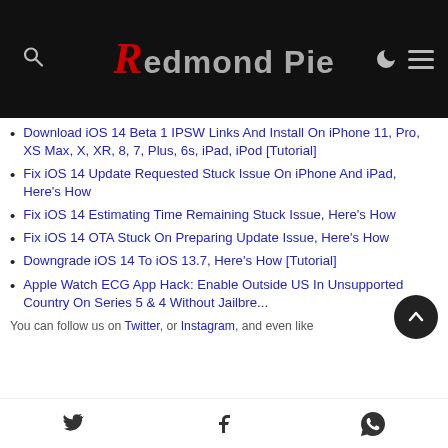Redmond Pie
Download iOS 14 Beta 1 IPSW Links And Install On iPhone 11, Pro, XS Max, X, XR, 8, 7, Plus, 6s, iPad, iPod [Tutorial]
Fix iOS 14 Update Requested Stuck Issue On iPhone And iPad, Here's How
Fix iOS 14 Estimating Time Remaining Stuck Issue, Here's How
Fix iOS 14 OTA Stuck On Preparing Update Issue, Here's How
Downgrade iOS 14 To iOS 13.7, Here's How [Tutorial]
Apple Watch ECG App Hack: Enable Outside US In Unsupported Country On Series 5 & 4 Without Jailbre...
You can follow us on Twitter, or Instagram, and even like
Share icons: Twitter, Facebook, WhatsApp